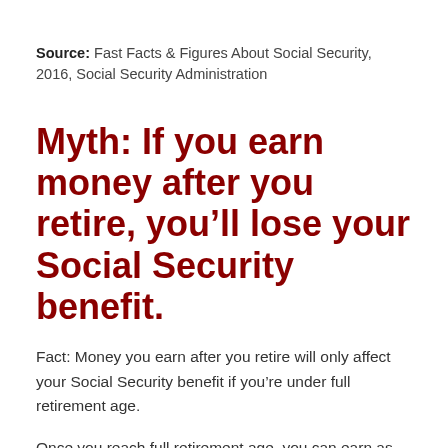Source: Fast Facts & Figures About Social Security, 2016, Social Security Administration
Myth: If you earn money after you retire, you'll lose your Social Security benefit.
Fact: Money you earn after you retire will only affect your Social Security benefit if you're under full retirement age.
Once you reach full retirement age, you can earn as much as you want without affecting your Social Security retirement benefit. But you're under full retirement age, any income